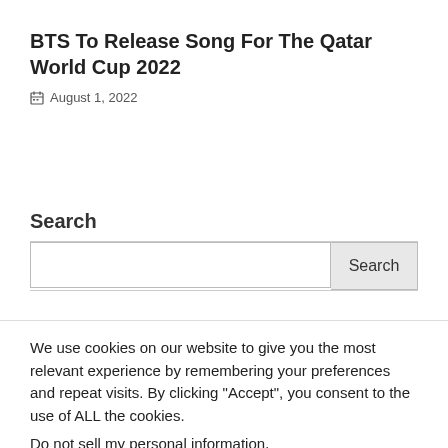BTS To Release Song For The Qatar World Cup 2022
August 1, 2022
Search
We use cookies on our website to give you the most relevant experience by remembering your preferences and repeat visits. By clicking "Accept", you consent to the use of ALL the cookies.
Do not sell my personal information.